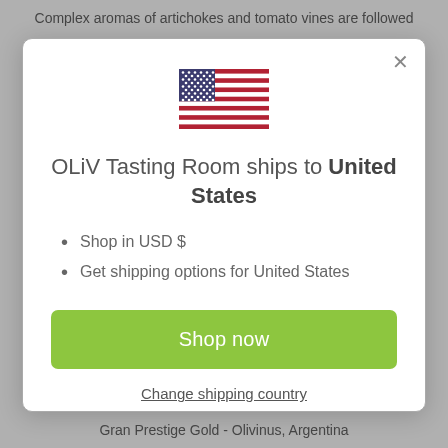Complex aromas of artichokes and tomato vines are followed
[Figure (illustration): US flag emoji/icon]
OLiV Tasting Room ships to United States
Shop in USD $
Get shipping options for United States
Shop now
Change shipping country
Gran Prestige Gold - Olivinus, Argentina